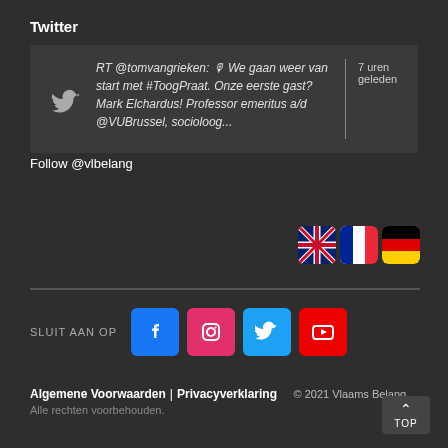Twitter
RT @tomvangrieken: 🎙 We gaan weer van start met #ToogPraat. Onze eerste gast? Mark Elchardus! Professor emeritus a/d @VUBrussel, socioloog...
7 uren geleden
Follow @vlbelang
[Figure (infographic): Three national flag icons: UK flag, French flag, German flag]
SLUIT AAN OP
[Figure (infographic): Social media icons: Facebook, Instagram, Twitter, YouTube]
Algemene Voorwaarden | Privacyverklaring  © 2021 Vlaams Belang
Alle rechten voorbehouden.